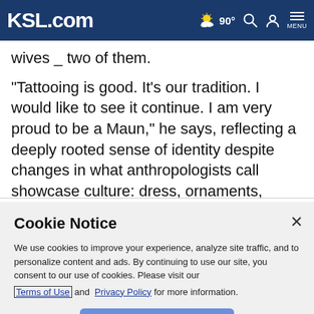KSL.com — 90° weather, search, account, menu
wives _ two of them.
"Tattooing is good. It's our tradition. I would like to see it continue. I am very proud to be a Maun," he says, reflecting a deeply rooted sense of identity despite changes in what anthropologists call showcase culture: dress, ornaments, dances and other visible elements.
Cookie Notice
We use cookies to improve your experience, analyze site traffic, and to personalize content and ads. By continuing to use our site, you consent to our use of cookies. Please visit our Terms of Use and  Privacy Policy for more information.
Continue